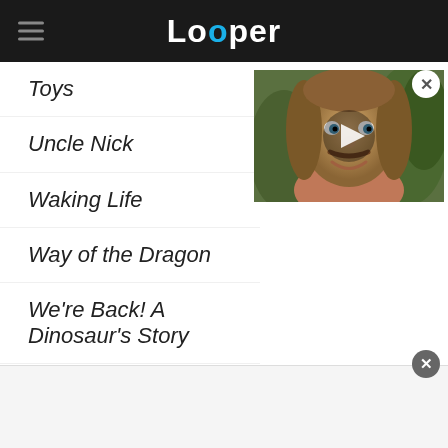Looper
Toys
Uncle Nick
Waking Life
Way of the Dragon
We're Back! A Dinosaur's Story
White Girl
Wildflower
[Figure (photo): A man with long hair and a mustache smiling, with a play button overlay — video thumbnail]